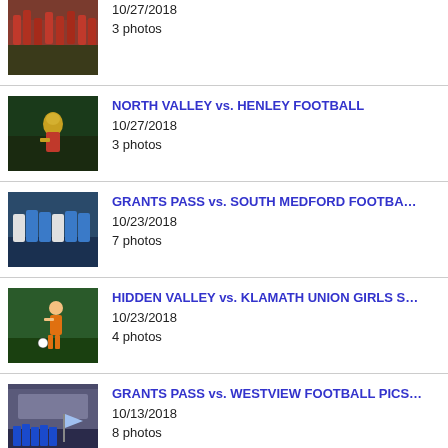[Figure (photo): Sports team photo, band/marching with instruments, red uniforms]
10/27/2018
3 photos
[Figure (photo): Football player running, red and gold uniform, night game]
NORTH VALLEY vs. HENLEY FOOTBALL
10/27/2018
3 photos
[Figure (photo): Football players at line of scrimmage, blue vs white uniforms]
GRANTS PASS vs. SOUTH MEDFORD FOOTBALL
10/23/2018
7 photos
[Figure (photo): Soccer player in orange uniform kicking ball on field]
HIDDEN VALLEY vs. KLAMATH UNION GIRLS S
10/23/2018
4 photos
[Figure (photo): Football team in blue uniforms running onto field with flag]
GRANTS PASS vs. WESTVIEW FOOTBALL PICS
10/13/2018
8 photos